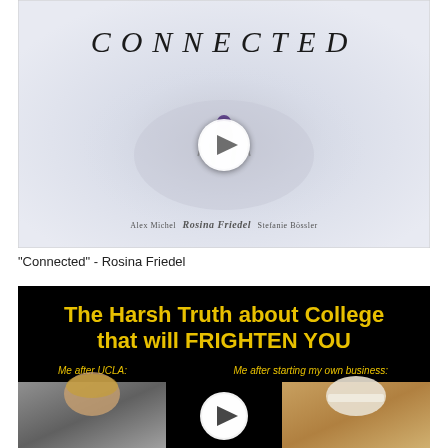[Figure (screenshot): Video thumbnail for 'Connected' featuring a skier in white snow from aerial view, italic title 'CONNECTED' at top, play button in center, credits at bottom: Alex Michel, Rosina Friedel (bold), Stefanie Bössler]
"Connected" - Rosina Friedel
[Figure (screenshot): Video thumbnail with black background, yellow bold text reading 'The Harsh Truth about College that will FRIGHTEN YOU', two side-by-side photos of a man (left: after UCLA, right: after starting own business wearing white hat), play button in center, labels in yellow italic]